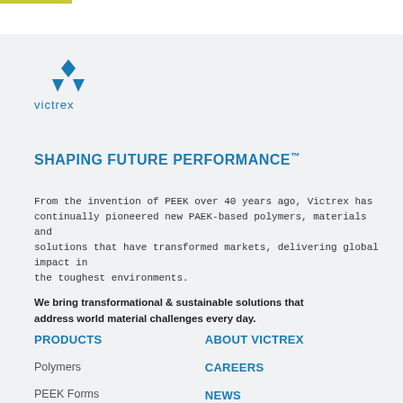[Figure (logo): Victrex logo: three blue diamond/triangle shapes above the word 'victrex' in blue lowercase text]
SHAPING FUTURE PERFORMANCE™
From the invention of PEEK over 40 years ago, Victrex has continually pioneered new PAEK-based polymers, materials and solutions that have transformed markets, delivering global impact in the toughest environments.
We bring transformational & sustainable solutions that address world material challenges every day.
PRODUCTS
Polymers
PEEK Forms
ABOUT VICTREX
CAREERS
NEWS